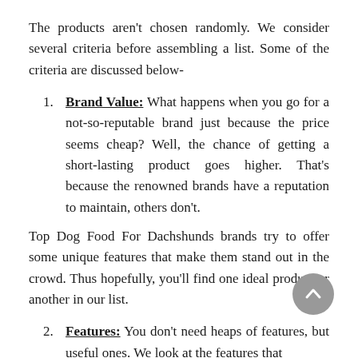The products aren't chosen randomly. We consider several criteria before assembling a list. Some of the criteria are discussed below-
Brand Value: What happens when you go for a not-so-reputable brand just because the price seems cheap? Well, the chance of getting a short-lasting product goes higher. That's because the renowned brands have a reputation to maintain, others don't.
Top Dog Food For Dachshunds brands try to offer some unique features that make them stand out in the crowd. Thus hopefully, you'll find one ideal product or another in our list.
Features: You don't need heaps of features, but useful ones. We look at the features that